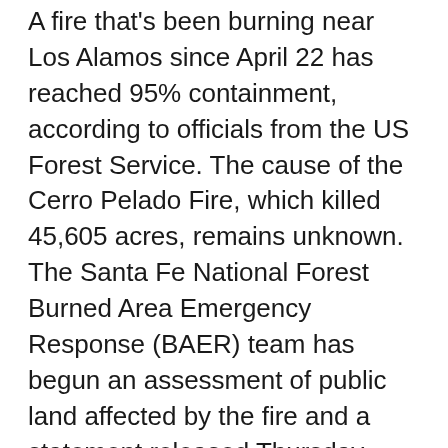A fire that's been burning near Los Alamos since April 22 has reached 95% containment, according to officials from the US Forest Service. The cause of the Cerro Pelado Fire, which killed 45,605 acres, remains unknown. The Santa Fe National Forest Burned Area Emergency Response (BAER) team has begun an assessment of public land affected by the fire and a statement released Thursday notes crews will continue to patrol the entire perimeter of the fire, including the Peralta Canyon area, keeping an eye for any heat or smoke in those areas. The Valles Caldera National Preserve will reopen some portions today. As many public lands remain off limits due to fire danger, outdoor enthusiasts will welcome the preserve's visitor opportunities including hiking along